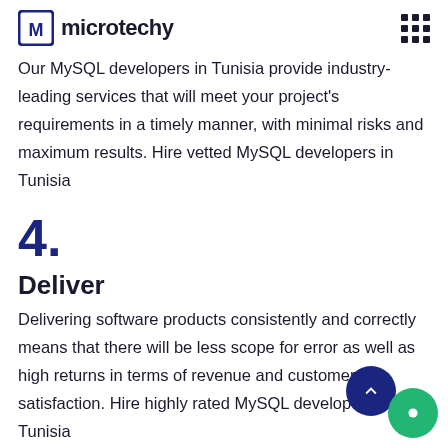microtechy
Our MySQL developers in Tunisia provide industry-leading services that will meet your project's requirements in a timely manner, with minimal risks and maximum results. Hire vetted MySQL developers in Tunisia
4.
Deliver
Delivering software products consistently and correctly means that there will be less scope for error as well as high returns in terms of revenue and customer satisfaction. Hire highly rated MySQL developers in Tunisia